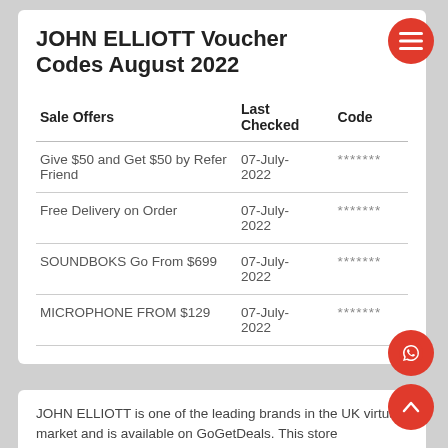JOHN ELLIOTT Voucher Codes August 2022
| Sale Offers | Last Checked | Code |
| --- | --- | --- |
| Give $50 and Get $50 by Refer Friend | 07-July-2022 | ******* |
| Free Delivery on Order | 07-July-2022 | ******* |
| SOUNDBOKS Go From $699 | 07-July-2022 | ******* |
| MICROPHONE FROM $129 | 07-July-2022 | ******* |
JOHN ELLIOTT is one of the leading brands in the UK virtual market and is available on GoGetDeals. This store